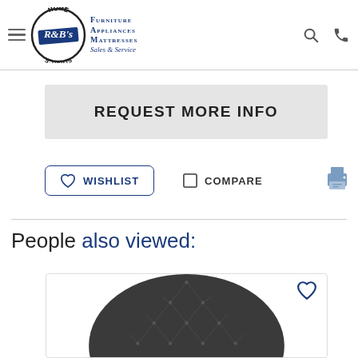R&B's Home Source — Furniture Appliances Mattresses Sales & Service
REQUEST MORE INFO
WISHLIST
COMPARE
People also viewed:
[Figure (photo): Tufted dark grey round accent chair product image in a product card]